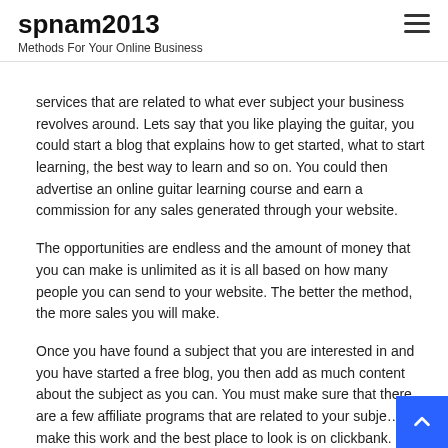spnam2013
Methods For Your Online Business
services that are related to what ever subject your business revolves around. Lets say that you like playing the guitar, you could start a blog that explains how to get started, what to start learning, the best way to learn and so on. You could then advertise an online guitar learning course and earn a commission for any sales generated through your website.
The opportunities are endless and the amount of money that you can make is unlimited as it is all based on how many people you can send to your website. The better the method, the more sales you will make.
Once you have found a subject that you are interested in and you have started a free blog, you then add as much content about the subject as you can. You must make sure that there are a few affiliate programs that are related to your subje… make this work and the best place to look is on clickbank.